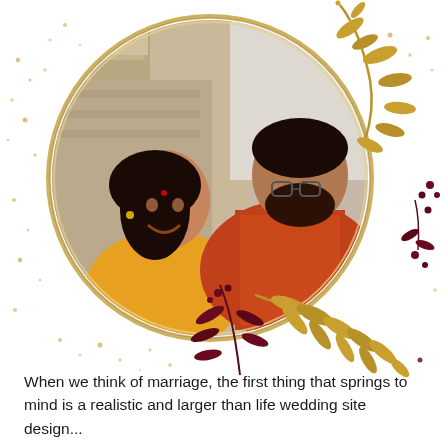[Figure (photo): A couple at an ancient temple backdrop, framed in a golden circle with decorative gold and burgundy botanical/floral elements, gold dots scattered around on white background. Woman in yellow sari smiling up, man in colorful traditional vest looking down at her.]
When we think of marriage, the first thing that springs to mind is a realistic and larger than life wedding site design...